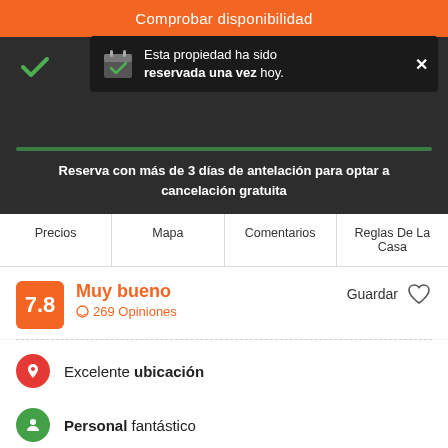[Figure (screenshot): Orange button with text Comprobar disponibilidad]
Esta propiedad ha sido reservada una vez hoy.
Reserva con más de 3 días de antelación para optar a cancelación gratuita
Precios  Mapa  Comentarios  Reglas De La Casa
7.8  Muy bueno  269 Opiniones  Guardar
Excelente ubicación
Personal fantástico
Limpieza excelente
Just a short walk to the Colosseum and Termini central station, this makes it ideal for seeing what the whole city has to offer.